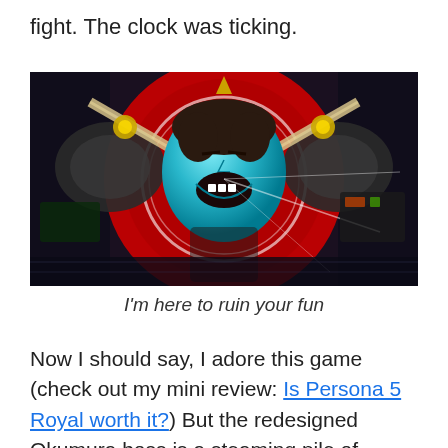fight. The clock was ticking.
[Figure (screenshot): Screenshot from Persona 5 Royal showing the Okumura boss fight — a large robotic/mechanical villain with a cyan-blue face, wide open mouth, red circular backing, and crossed weapons, set in a dark industrial environment.]
I'm here to ruin your fun
Now I should say, I adore this game (check out my mini review: Is Persona 5 Royal worth it?) But the redesigned Okumura boss is a steaming pile of brokenness. It drove me mad, and at times I